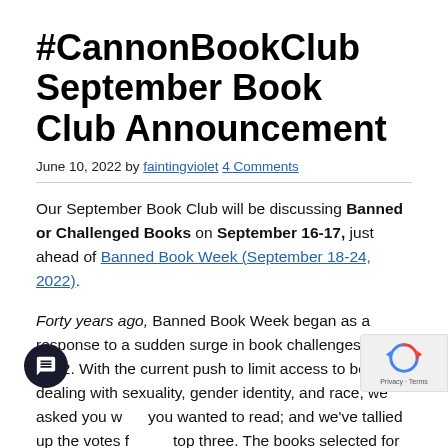#CannonBookClub September Book Club Announcement
June 10, 2022 by faintingviolet 4 Comments
Our September Book Club will be discussing Banned or Challenged Books on September 16-17, just ahead of Banned Book Week (September 18-24, 2022).
Forty years ago, Banned Book Week began as a response to a sudden surge in book challenges in 1982. With the current push to limit access to books dealing with sexuality, gender identity, and race, we asked you what you wanted to read; and we've tallied up the votes for the top three. The books selected for our discussion come